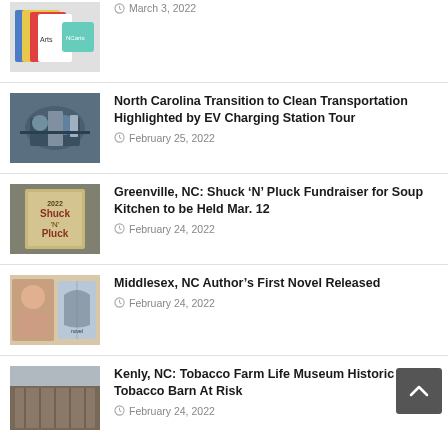[Figure (photo): Arts Council related image - books and colorful logo]
March 3, 2022
[Figure (photo): People gathered around an EV charging station outdoors]
North Carolina Transition to Clean Transportation Highlighted by EV Charging Station Tour
February 25, 2022
[Figure (photo): 2022 Shuck N Pluck event poster on gray background]
Greenville, NC: Shuck ‘N’ Pluck Fundraiser for Soup Kitchen to be Held Mar. 12
February 24, 2022
[Figure (photo): Author portrait and book cover for novel]
Middlesex, NC Author’s First Novel Released
February 24, 2022
[Figure (photo): Historic tobacco barn structure]
Kenly, NC: Tobacco Farm Life Museum Historic Tobacco Barn At Risk
February 24, 2022